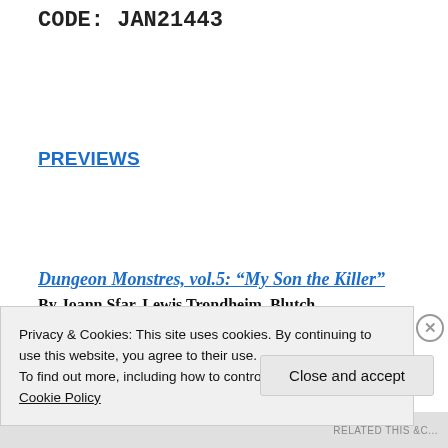CODE: JAN21443
PREVIEWS
Dungeon Monstres, vol.5: “My Son the Killer”
By Joann Sfar, Lewis Trondheim, Blutch.
Privacy & Cookies: This site uses cookies. By continuing to use this website, you agree to their use.
To find out more, including how to control cookies, see here:
Cookie Policy
Close and accept